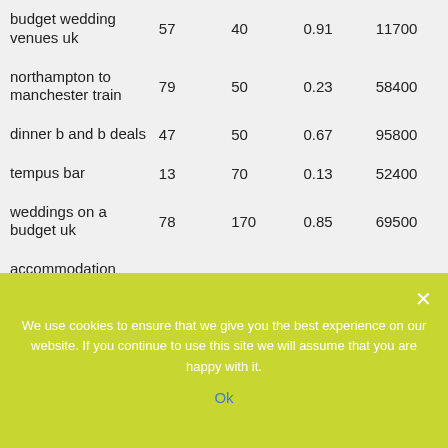| budget wedding venues uk | 57 | 40 | 0.91 | 11700 |
| northampton to manchester train | 79 | 50 | 0.23 | 58400 |
| dinner b and b deals | 47 | 50 | 0.67 | 95800 |
| tempus bar | 13 | 70 | 0.13 | 52400 |
| weddings on a budget uk | 78 | 170 | 0.85 | 69500 |
| accommodation northampton | 26 | 110 | 0.87 | 10400 |
| boutique hotels northampton | 7 | 20 | 0.83 | 21100 |
We use cookies to ensure that we give you the best experience on our website. If you continue to use this site we will assume that you are happy with it.
Ok